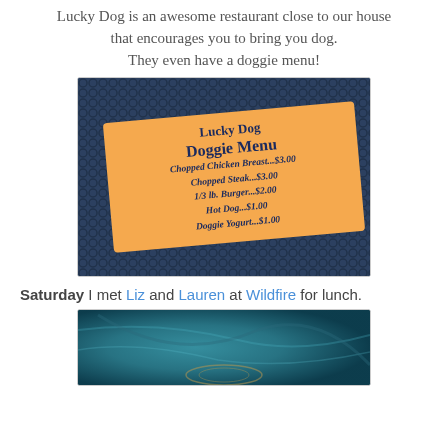Lucky Dog is an awesome restaurant close to our house that encourages you to bring you dog. They even have a doggie menu!
[Figure (photo): Photo of a Lucky Dog Doggie Menu card (orange card, tilted) on a dark mesh background. Menu reads: Lucky Dog Doggie Menu, Chopped Chicken Breast...$3.00, Chopped Steak...$3.00, 1/3 lb. Burger...$2.00, Hot Dog...$1.00, Doggie Yogurt...$1.00]
Saturday I met Liz and Lauren at Wildfire for lunch.
[Figure (photo): Partial photo showing a decorative teal/turquoise surface, likely a restaurant table or menu cover at Wildfire.]